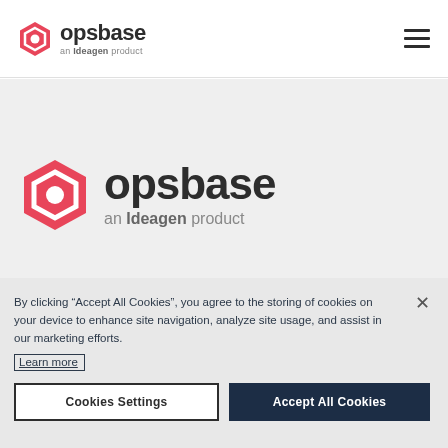[Figure (logo): Opsbase logo (small) with hexagon icon in pink/red and text 'opsbase' with 'an Ideagen product' subtitle, in the navigation header]
[Figure (logo): Hamburger/menu icon (three horizontal lines) in the top right of the navigation header]
[Figure (logo): Opsbase logo (large) with hexagon icon in pink/red and text 'opsbase' with 'an Ideagen product' subtitle, centered in the gray content area]
By clicking “Accept All Cookies”, you agree to the storing of cookies on your device to enhance site navigation, analyze site usage, and assist in our marketing efforts.
Learn more
Cookies Settings
Accept All Cookies